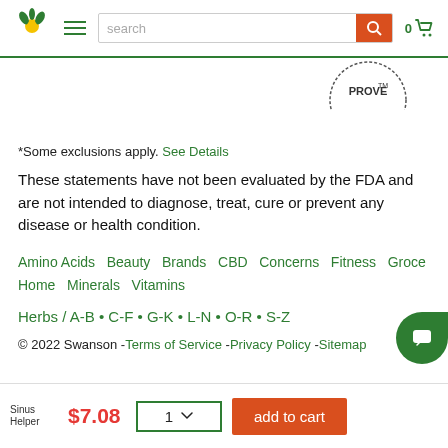Swanson Health website header with logo, hamburger menu, search bar, and cart
[Figure (logo): Swanson Health green sunburst/leaf logo]
[Figure (illustration): Circular PROVED seal stamp partially visible at top right]
*Some exclusions apply. See Details
These statements have not been evaluated by the FDA and are not intended to diagnose, treat, cure or prevent any disease or health condition.
Amino Acids  Beauty  Brands  CBD  Concerns  Fitness  Grocery  Home  Minerals  Vitamins
Herbs / A-B • C-F • G-K • L-N • O-R • S-Z
© 2022 Swanson -Terms of Service -Privacy Policy -Sitemap
[Figure (screenshot): Sticky add-to-cart bar at bottom: Sinus Helper image, $7.08 price, quantity selector showing 1, add to cart button]